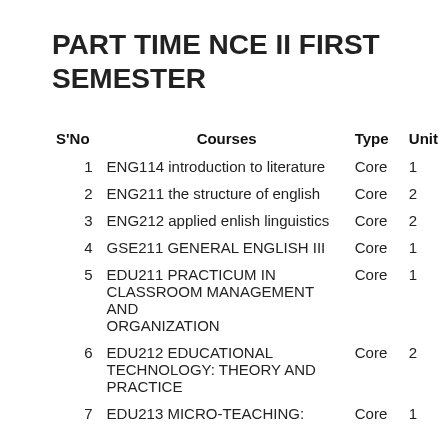PART TIME NCE II FIRST SEMESTER
| S'No | Courses | Type | Unit |
| --- | --- | --- | --- |
| 1 | ENG114 introduction to literature | Core | 1 |
| 2 | ENG211 the structure of english | Core | 2 |
| 3 | ENG212 applied enlish linguistics | Core | 2 |
| 4 | GSE211 GENERAL ENGLISH III | Core | 1 |
| 5 | EDU211 PRACTICUM IN CLASSROOM MANAGEMENT AND ORGANIZATION | Core | 1 |
| 6 | EDU212 EDUCATIONAL TECHNOLOGY: THEORY AND PRACTICE | Core | 2 |
| 7 | EDU213 MICRO-TEACHING: | Core | 1 |